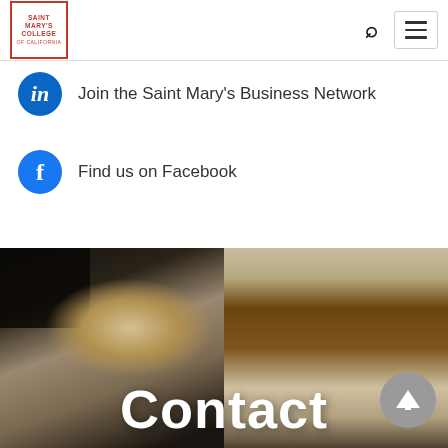[Figure (logo): Saint Mary's College of California logo — red bordered box with text]
Join the Saint Mary's Business Network
Find us on Facebook
[Figure (photo): Person with blonde hair seen from behind in a classroom or hallway setting, with a wooden door frame visible on the right. Text 'Contact' overlaid at bottom center in large white bold font. Back-to-top arrow button in bottom right corner.]